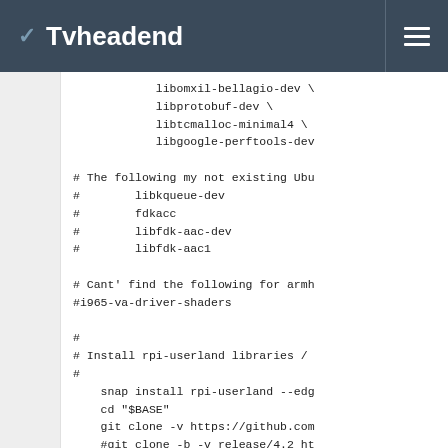Tvheadend
libomxil-bellagio-dev \
            libprotobuf-dev \
            libtcmalloc-minimal4 \
            libgoogle-perftools-dev

# The following my not existing Ubu...
#        libkqueue-dev
#        fdkacc
#        libfdk-aac-dev
#        libfdk-aac1

# Cant' find the following for armh...
#i965-va-driver-shaders

#
# Install rpi-userland libraries / ...
#
    snap install rpi-userland --edg...
    cd "$BASE"
    git clone -v https://github.com...
    #git clone -b -v release/4.2 ht...
    cd "$BASE/tvheadend"
  fi
  echo "AUTOBUILD_CONFIGURE_EXTRA=\...